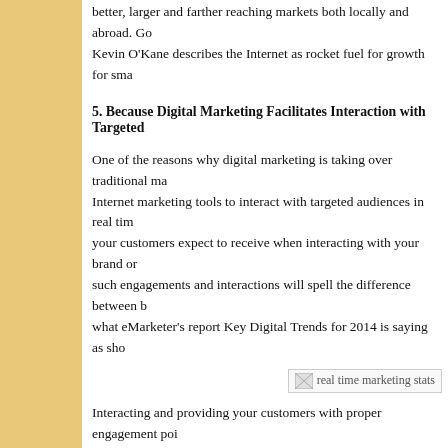better, larger and farther reaching markets both locally and abroad. Go
Kevin O’Kane describes the Internet as rocket fuel for growth for sma
5. Because Digital Marketing Facilitates Interaction with Targeted
One of the reasons why digital marketing is taking over traditional ma
Internet marketing tools to interact with targeted audiences in real tim
your customers expect to receive when interacting with your brand or
such engagements and interactions will spell the difference between b
what eMarketer’s report Key Digital Trends for 2014 is saying as sho
[Figure (photo): Broken image placeholder labeled 'real time marketing stats']
Interacting and providing your customers with proper engagement poi
your targeted audiences want. This vital information will steer you tow
moves, provide your customers with an even better experience, develo
gaining their loyalty and trust that you will need when your business h